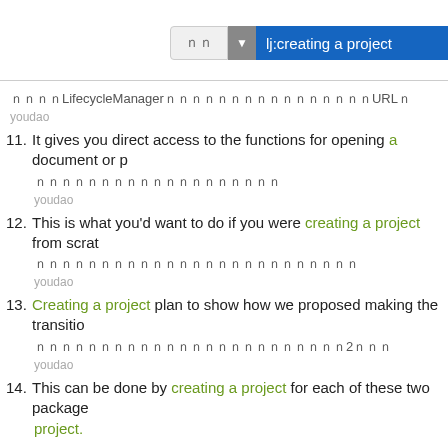[Figure (screenshot): Search bar UI with a gray button showing CJK characters, a dropdown arrow, and a blue highlighted input field showing 'lj:creating a project']
过去LifecycleManager是提供的,所以我们会引用相关的URL。
youdao
11. It gives you direct access to the functions for opening a document or p…
它给您直接访问功能开幕文件
youdao
12. This is what you'd want to do if you were creating a project from scrat…
这是你想要做,如果你是从头开始创建一个项目
youdao
13. Creating a project plan to show how we proposed making the transitio…
创建项目计划,以说明我们如何建议作了2项改变
youdao
14. This can be done by creating a project for each of these two package… project.